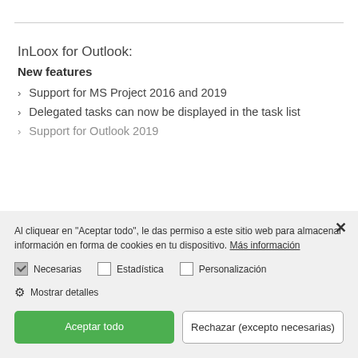InLoox for Outlook:
New features
Support for MS Project 2016 and 2019
Delegated tasks can now be displayed in the task list
Support for Outlook 2019
Al cliquear en "Aceptar todo", le das permiso a este sitio web para almacenar información en forma de cookies en tu dispositivo. Más información
Necesarias  Estadística  Personalización
Mostrar detalles
Aceptar todo   Rechazar (excepto necesarias)